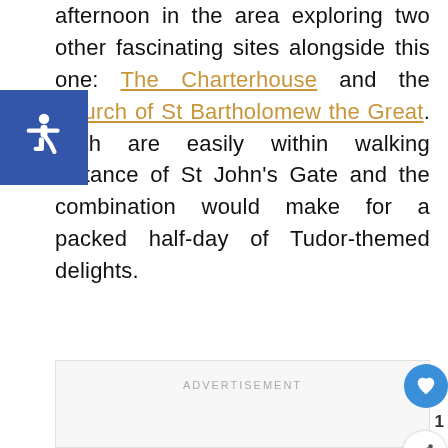afternoon in the area exploring two other fascinating sites alongside this one: The Charterhouse and the Church of St Bartholomew the Great. Both are easily within walking distance of St John's Gate and the combination would make for a packed half-day of Tudor-themed delights.
[Figure (other): Blue accessibility (wheelchair) icon badge on left side]
ADVERTISEMENT